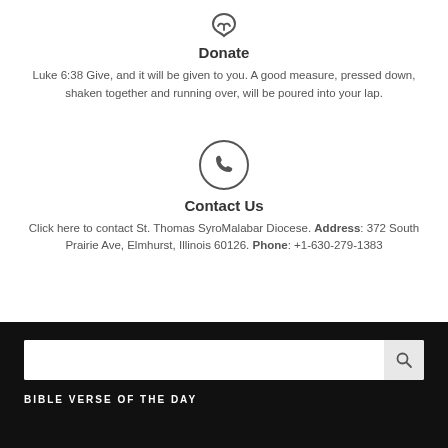[Figure (illustration): Hand with a coin/giving icon in circle, partial at top]
Donate
Luke 6:38 Give, and it will be given to you. A good measure, pressed down, shaken together and running over, will be poured into your lap.
[Figure (illustration): Phone/telephone icon inside a circle]
Contact Us
Click here to contact St. Thomas SyroMalabar Diocese. Address: 372 South Prairie Ave, Elmhurst, Illinois 60126. Phone: +1-630-279-1383
[Figure (other): Search bar with search button on black background]
BIBLE VERSE OF THE DAY